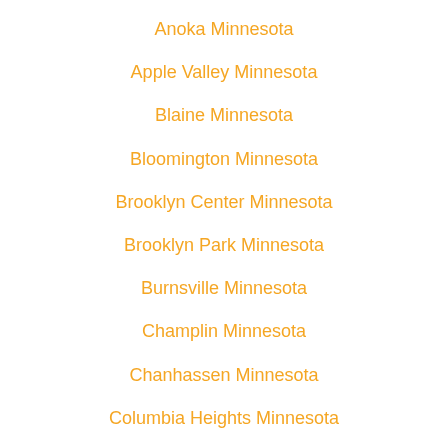Anoka Minnesota
Apple Valley Minnesota
Blaine Minnesota
Bloomington Minnesota
Brooklyn Center Minnesota
Brooklyn Park Minnesota
Burnsville Minnesota
Champlin Minnesota
Chanhassen Minnesota
Columbia Heights Minnesota